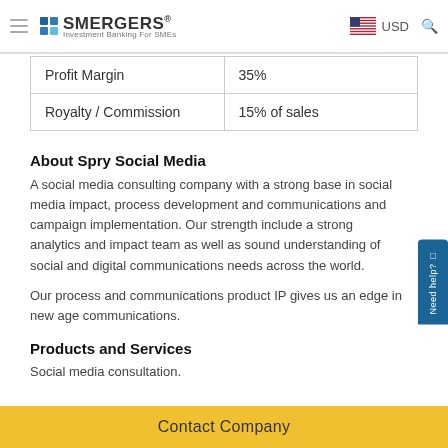SMERGERS® Investment Banking For SMEs | USD
| Profit Margin | 35% |
| Royalty / Commission | 15% of sales |
About Spry Social Media
A social media consulting company with a strong base in social media impact, process development and communications and campaign implementation. Our strength include a strong analytics and impact team as well as sound understanding of social and digital communications needs across the world.
Our process and communications product IP gives us an edge in new age communications.
Products and Services
Social media consultation.
Contact Company